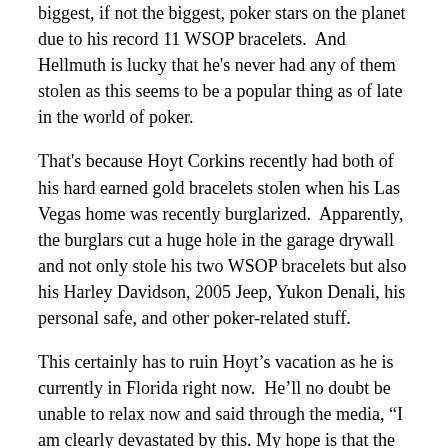biggest, if not the biggest, poker stars on the planet due to his record 11 WSOP bracelets.  And Hellmuth is lucky that he's never had any of them stolen as this seems to be a popular thing as of late in the world of poker.
That's because Hoyt Corkins recently had both of his hard earned gold bracelets stolen when his Las Vegas home was recently burglarized.  Apparently, the burglars cut a huge hole in the garage drywall and not only stole his two WSOP bracelets but also his Harley Davidson, 2005 Jeep, Yukon Denali, his personal safe, and other poker-related stuff.
This certainly has to ruin Hoyt's vacation as he is currently in Florida right now.  He'll no doubt be unable to relax now and said through the media, "I am clearly devastated by this. My hope is that the poker community will help me try and recover the irreplaceable items that were taken.  I truly appreciate the outpouring of love and support I have received."